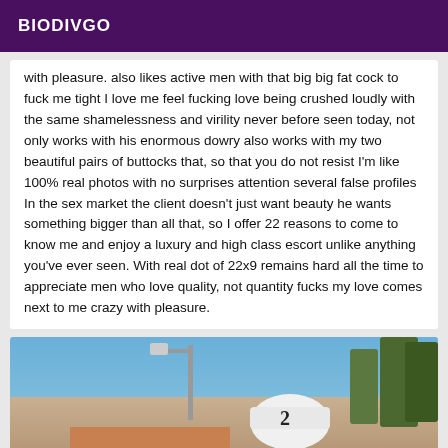BIODIVGO
with pleasure. also likes active men with that big big fat cock to fuck me tight I love me feel fucking love being crushed loudly with the same shamelessness and virility never before seen today, not only works with his enormous dowry also works with my two beautiful pairs of buttocks that, so that you do not resist I'm like 100% real photos with no surprises attention several false profiles In the sex market the client doesn't just want beauty he wants something bigger than all that, so I offer 22 reasons to come to know me and enjoy a luxury and high class escort unlike anything you've ever seen. With real dot of 22x9 remains hard all the time to appreciate men who love quality, not quantity fucks my love comes next to me crazy with pleasure.
[Figure (photo): Outdoor photo showing a person with reddish-brown hair, wearing a white cap/hat with a number on it, with trees and a street lamp visible in the background against a blue sky.]